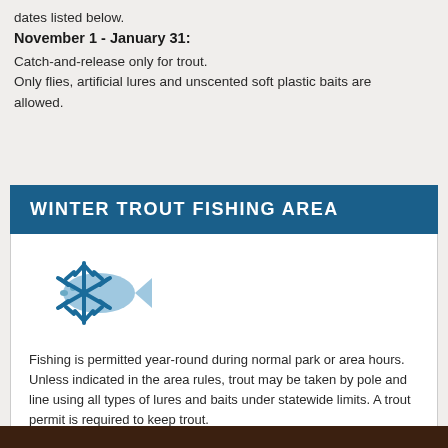dates listed below.
November 1 - January 31:
Catch-and-release only for trout.
Only flies, artificial lures and unscented soft plastic baits are allowed.
WINTER TROUT FISHING AREA
[Figure (illustration): Snowflake icon overlapping a fish silhouette icon, both in blue tones]
Fishing is permitted year-round during normal park or area hours. Unless indicated in the area rules, trout may be taken by pole and line using all types of lures and baits under statewide limits. A trout permit is required to keep trout.